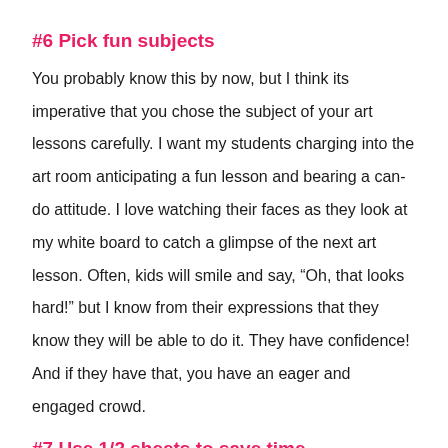#6 Pick fun subjects
You probably know this by now, but I think its imperative that you chose the subject of your art lessons carefully. I want my students charging into the art room anticipating a fun lesson and bearing a can-do attitude. I love watching their faces as they look at my white board to catch a glimpse of the next art lesson. Often, kids will smile and say, “Oh, that looks hard!” but I know from their expressions that they know they will be able to do it. They have confidence! And if they have that, you have an eager and engaged crowd.
#7 Use 1/2 sheets to save time